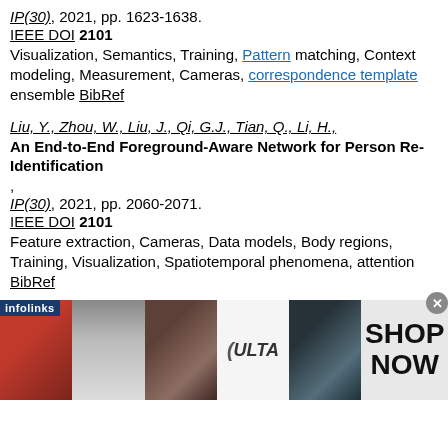IP(30), 2021, pp. 1623-1638. IEEE DOI 2101 Visualization, Semantics, Training, Pattern matching, Context modeling, Measurement, Cameras, correspondence template ensemble BibRef
Liu, Y., Zhou, W., Liu, J., Qi, G.J., Tian, Q., Li, H., An End-to-End Foreground-Aware Network for Person Re-Identification, IP(30), 2021, pp. 2060-2071. IEEE DOI 2101 Feature extraction, Cameras, Data models, Body regions, Training, Visualization, Spatiotemporal phenomena, attention BibRef
Wang, X., Liu, M., Raychaudhuri, D.S., Paul, S., Wang, Y., Roy-Chowdhury, A.K., Learning Person Re-Identification Models From Videos Weak Supervision,
[Figure (photo): Infolinks advertisement banner showing ULTA beauty products with lip, brush, eye makeup images and SHOP NOW text]